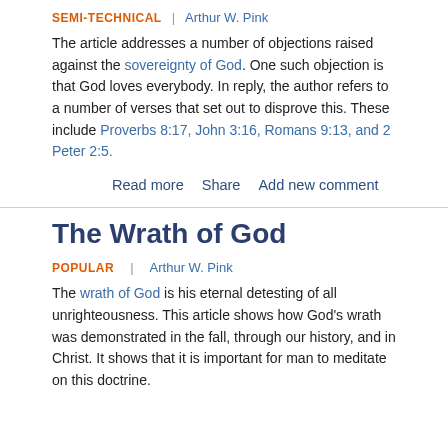SEMI-TECHNICAL | Arthur W. Pink
The article addresses a number of objections raised against the sovereignty of God. One such objection is that God loves everybody. In reply, the author refers to a number of verses that set out to disprove this. These include Proverbs 8:17, John 3:16, Romans 9:13, and 2 Peter 2:5.
Read more   Share   Add new comment
The Wrath of God
POPULAR | Arthur W. Pink
The wrath of God is his eternal detesting of all unrighteousness. This article shows how God's wrath was demonstrated in the fall, through our history, and in Christ. It shows that it is important for man to meditate on this doctrine.